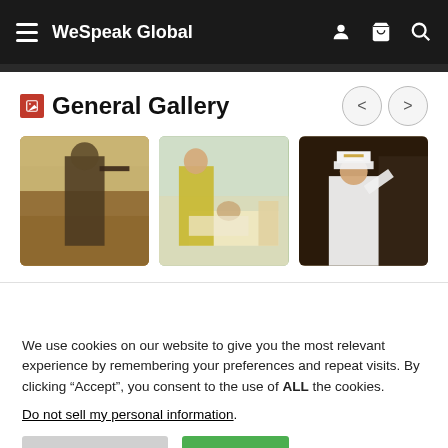WeSpeak Global
General Gallery
[Figure (photo): Three gallery images: a soldier in combat gear in a desert setting, a doctor/nurse in yellow gown attending to a patient in a hospital bed, and a naval officer in white dress uniform saluting.]
We use cookies on our website to give you the most relevant experience by remembering your preferences and repeat visits. By clicking “Accept”, you consent to the use of ALL the cookies.
Do not sell my personal information.